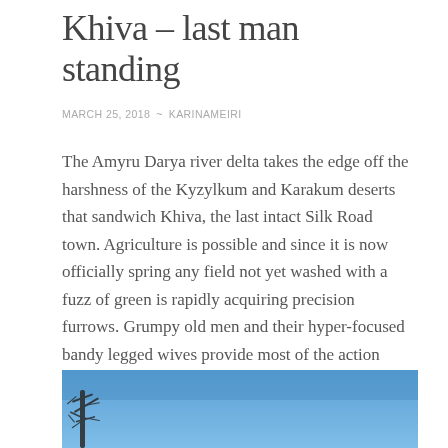Khiva – last man standing
MARCH 25, 2018  ~  KARINAMEIRI
The Amyru Darya river delta takes the edge off the harshness of the Kyzylkum and Karakum deserts that sandwich Khiva, the last intact Silk Road town. Agriculture is possible and since it is now officially spring any field not yet washed with a fuzz of green is rapidly acquiring precision furrows. Grumpy old men and their hyper-focused bandy legged wives provide most of the action while grandchildren resolutely shirk their responsibilities: Sulky teenage girls stare off into the distance, longing for a better present, a different future; younger brothers, kick balls or each other, neither use nor ornament.
[Figure (photo): A photo showing bare tree branches against a blue sky, partial view at the bottom of the page]